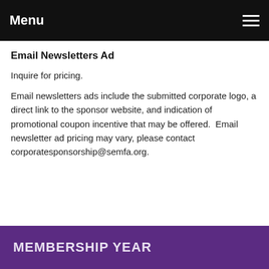Menu
Email Newsletters Ad
Inquire for pricing.
Email newsletters ads include the submitted corporate logo, a direct link to the sponsor website, and indication of promotional coupon incentive that may be offered.  Email newsletter ad pricing may vary, please contact corporatesponsorship@semfa.org.
MEMBERSHIP YEAR